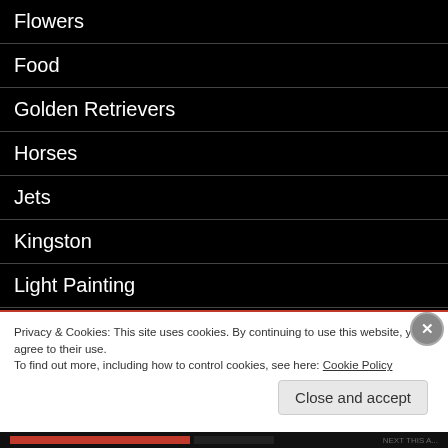Flowers
Food
Golden Retrievers
Horses
Jets
Kingston
Light Painting
lingerie
Modelling
Privacy & Cookies: This site uses cookies. By continuing to use this website, you agree to their use.
To find out more, including how to control cookies, see here: Cookie Policy
Close and accept